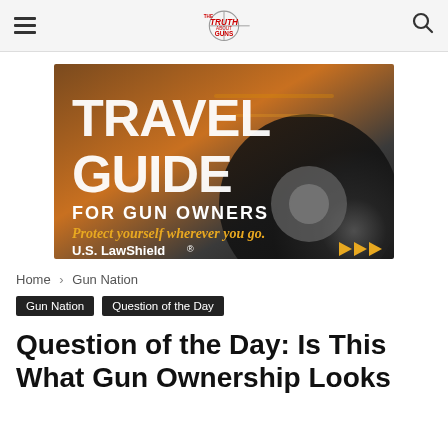The Truth About Guns
[Figure (illustration): Travel Guide for Gun Owners advertisement by U.S. LawShield. Shows large text 'TRAVEL GUIDE FOR GUN OWNERS' over a blurred spinning car wheel background. Gold italic text reads 'Protect yourself wherever you go.' U.S. LawShield logo with gold double-arrow chevrons at bottom right.]
Home › Gun Nation
Gun Nation   Question of the Day
Question of the Day: Is This What Gun Ownership Looks